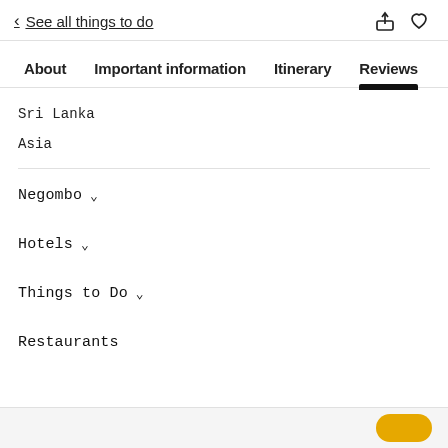< See all things to do
About | Important information | Itinerary | Reviews
Sri Lanka
Asia
Negombo ˅
Hotels ˅
Things to Do ˅
Restaurants